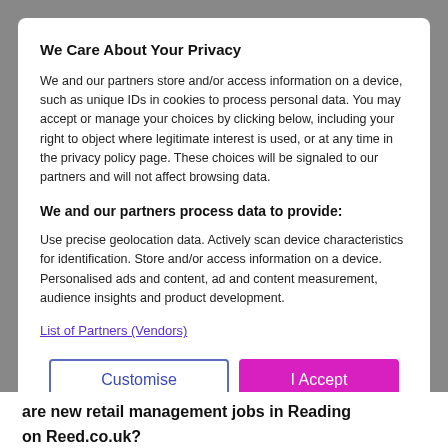We Care About Your Privacy
We and our partners store and/or access information on a device, such as unique IDs in cookies to process personal data. You may accept or manage your choices by clicking below, including your right to object where legitimate interest is used, or at any time in the privacy policy page. These choices will be signaled to our partners and will not affect browsing data.
We and our partners process data to provide:
Use precise geolocation data. Actively scan device characteristics for identification. Store and/or access information on a device. Personalised ads and content, ad and content measurement, audience insights and product development.
List of Partners (Vendors)
Customise
I Accept
are new retail management jobs in Reading on Reed.co.uk?